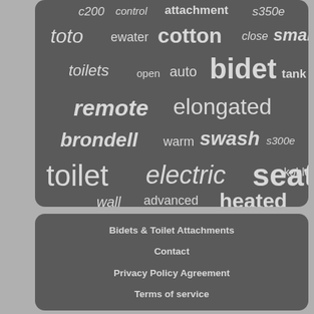[Figure (infographic): Word cloud on dark gray rounded rectangle background featuring bidet/toilet related search terms in varying sizes and weights. Words include: c200, control, attachment, s350e, toto, ewater, cotton, close, smart, toilets, open, auto, bidet, tank, remote, elongated, brondell, warm, swash, s300e, toilet, electric, seat, kohler, wall, advanced, heated]
Bidets & Toilet Attachments
Contact
Privacy Policy Agreement
Terms of service